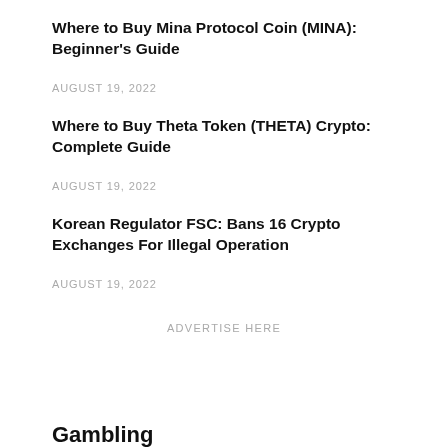Where to Buy Mina Protocol Coin (MINA): Beginner's Guide
AUGUST 19, 2022
Where to Buy Theta Token (THETA) Crypto: Complete Guide
AUGUST 19, 2022
Korean Regulator FSC: Bans 16 Crypto Exchanges For Illegal Operation
AUGUST 19, 2022
ADVERTISE HERE
Gambling